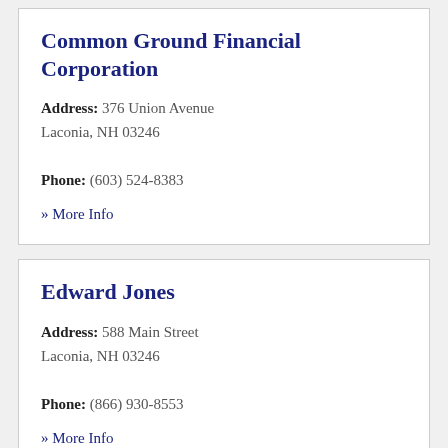Common Ground Financial Corporation
Address: 376 Union Avenue Laconia, NH 03246
Phone: (603) 524-8383
» More Info
Edward Jones
Address: 588 Main Street Laconia, NH 03246
Phone: (866) 930-8553
» More Info
Edward Jones